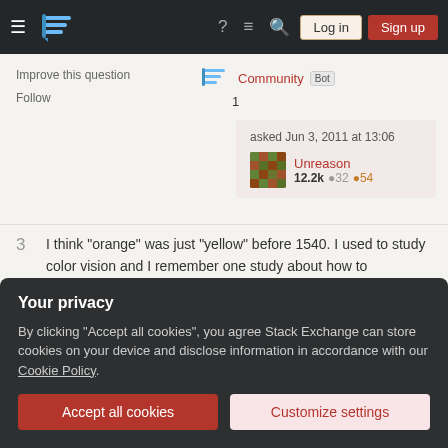Stack Exchange navigation bar with hamburger menu, logo, help, chat, search icons, Log in and Sign up buttons
Improve this question
Follow
Community Bot 1
asked Jun 3, 2011 at 13:06
Unreason
12.2k ●32 ●54
3  I think "orange" was just "yellow" before 1540. I used to study color vision and I remember one study about how to determine standard color sets in different cultures. I think it mentioned the introduction of "orange" into the English language by way of the fruit. I'll see if I can find it for you.
Your privacy
By clicking "Accept all cookies", you agree Stack Exchange can store cookies on your device and disclose information in accordance with our Cookie Policy.
Accept all cookies
Customize settings
of is one of the referenced ones, but I don't have my old